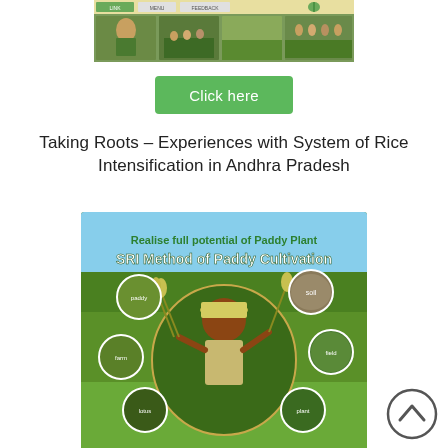[Figure (screenshot): Screenshot of a website or app showing rice field images and navigation links]
[Figure (other): Green 'Click here' button]
Taking Roots – Experiences with System of Rice Intensification in Andhra Pradesh
[Figure (photo): Book/pamphlet cover image titled 'Realise full potential of Paddy Plant – SRI Method of Paddy Cultivation' showing a farmer holding rice stalks surrounded by circular inset photos of paddy cultivation stages]
[Figure (other): Scroll-up circular button icon at bottom right]